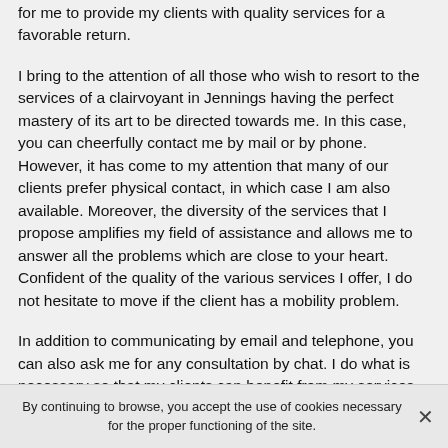for me to provide my clients with quality services for a favorable return.
I bring to the attention of all those who wish to resort to the services of a clairvoyant in Jennings having the perfect mastery of its art to be directed towards me. In this case, you can cheerfully contact me by mail or by phone. However, it has come to my attention that many of our clients prefer physical contact, in which case I am also available. Moreover, the diversity of the services that I propose amplifies my field of assistance and allows me to answer all the problems which are close to your heart. Confident of the quality of the various services I offer, I do not hesitate to move if the client has a mobility problem.
In addition to communicating by email and telephone, you can also ask me for any consultation by chat. I do what is necessary so that my clients can benefit from my services
By continuing to browse, you accept the use of cookies necessary for the proper functioning of the site.